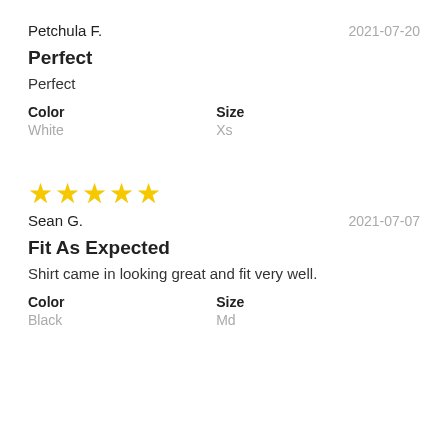Petchula F.
2021-07-20
Perfect
Perfect
Color
White
Size
Xs
[Figure (other): Five gold stars rating]
Sean G.
2021-07-07
Fit As Expected
Shirt came in looking great and fit very well.
Color
Black
Size
Md